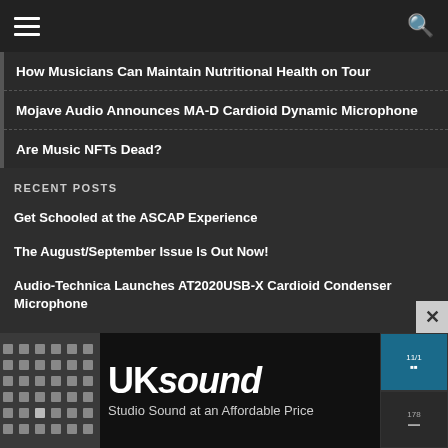Navigation menu and search icon
How Musicians Can Maintain Nutritional Health on Tour
Mojave Audio Announces MA-D Cardioid Dynamic Microphone
Are Music NFTs Dead?
RECENT POSTS
Get Schooled at the ASCAP Experience
The August/September Issue Is Out Now!
Audio-Technica Launches AT2020USB-X Cardioid Condenser Microphone
CONNECT ON FACEBOOK
[Figure (screenshot): UK Sound advertisement banner: 'UKsound - Studio Sound at an Affordable Price']